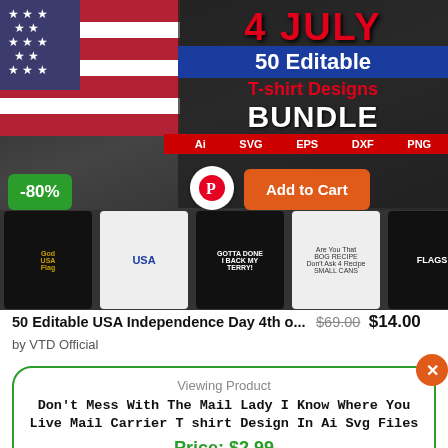[Figure (screenshot): Product listing image showing 4 July 50 Editable T-shirt Designs Bundle in Ai SVG EPS DXF PNG formats, with American flag background and sample shirt designs, -80% discount badge, Pinterest button, and Add to Cart button]
50 Editable USA Independence Day 4th o... $69.00 $14.00
by VTD Official
Viewing Product
Don't Mess With The Mail Lady I Know Where You Live Mail Carrier T shirt Design In Ai Svg Files
Price: $2.99
Add to cart